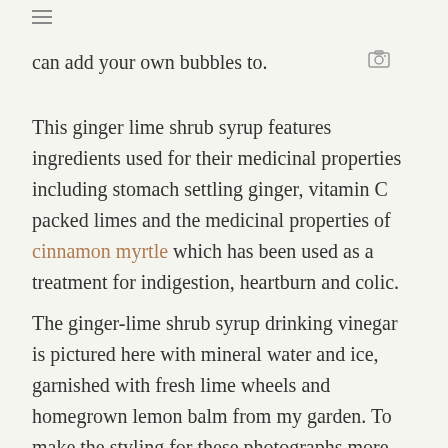can add your own bubbles to.
This ginger lime shrub syrup features ingredients used for their medicinal properties including stomach settling ginger, vitamin C packed limes and the medicinal properties of cinnamon myrtle which has been used as a treatment for indigestion, heartburn and colic.
The ginger-lime shrub syrup drinking vinegar is pictured here with mineral water and ice, garnished with fresh lime wheels and homegrown lemon balm from my garden. To make the styling for these photographs more sustainable I used upcycled jam jar glasses and IS reusable metal drinking straws in rainbow. These drinks were gone in seconds after the photographer arrived to photograph them.